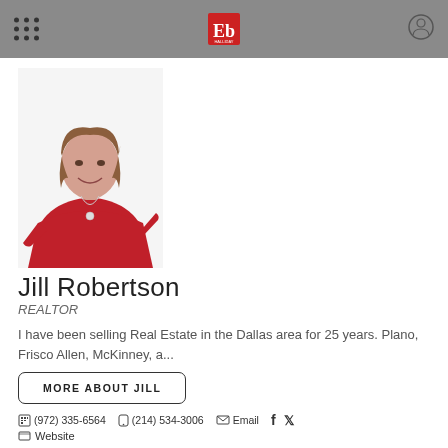Ebby Halliday Realtors header bar
[Figure (photo): Professional headshot of Jill Robertson, a woman with shoulder-length brown hair wearing a red top and long necklace, smiling against a white background]
Jill Robertson
REALTOR
I have been selling Real Estate in the Dallas area for 25 years. Plano, Frisco Allen, McKinney, a...
MORE ABOUT JILL
(972) 335-6564  (214) 534-3006  Email
Website